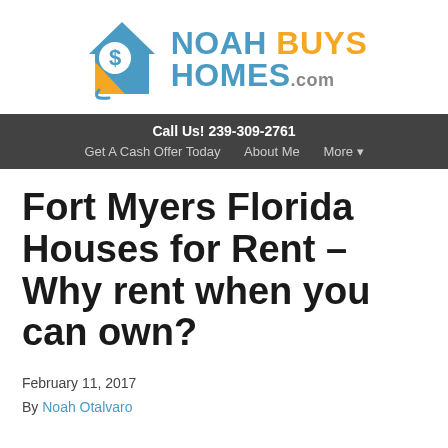[Figure (logo): Noah Buys Homes .com logo with house icon in teal and orange]
Call Us! 239-309-2761
Get A Cash Offer Today   About Me   More ▾
Fort Myers Florida Houses for Rent – Why rent when you can own?
February 11, 2017
By Noah Otalvaro